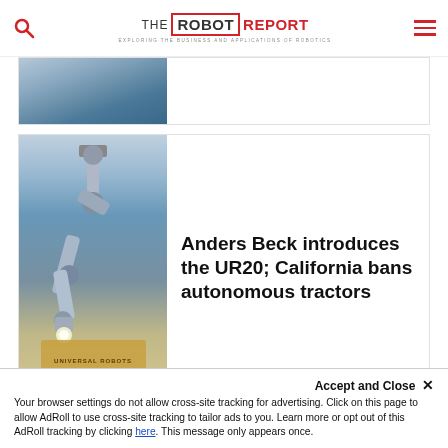THE ROBOT REPORT — EXPLORING THE BUSINESS AND APPLICATIONS OF ROBOTICS
[Figure (photo): Partially visible article card with a sewing machine or industrial robot image]
[Figure (photo): A Universal Robots cobot arm lifting a cardboard box labeled UNIVERSAL ROBOTS in a warehouse setting]
Anders Beck introduces the UR20; California bans autonomous tractors
[Figure (photo): Bottom event banner with crowd in background and REGISTER NOW button visible]
Accept and Close ✕
Your browser settings do not allow cross-site tracking for advertising. Click on this page to allow AdRoll to use cross-site tracking to tailor ads to you. Learn more or opt out of this AdRoll tracking by clicking here. This message only appears once.